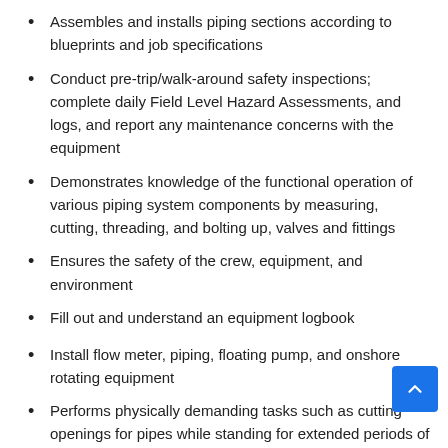Assembles and installs piping sections according to blueprints and job specifications
Conduct pre-trip/walk-around safety inspections; complete daily Field Level Hazard Assessments, and logs, and report any maintenance concerns with the equipment
Demonstrates knowledge of the functional operation of various piping system components by measuring, cutting, threading, and bolting up, valves and fittings
Ensures the safety of the crew, equipment, and environment
Fill out and understand an equipment logbook
Install flow meter, piping, floating pump, and onshore rotating equipment
Performs physically demanding tasks such as cutting openings for pipes while standing for extended periods of time and securing pipes in hard to reach areas
Uses testing equipment effectively to check for system leaks and troubleshoot fitting errors
Working safely in a team environment such as working with